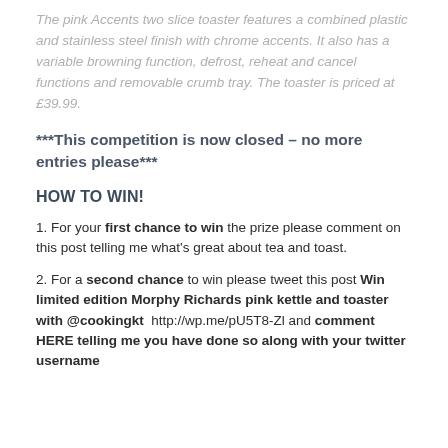The pink Accents two slice toaster features a combined plastic and stainless steel finish with chrome accents. It also has a variable browning function, defrost, reheat and cancel functions and removable crumb tray. The toaster is priced at £39.99.
***This competition is now closed – no more entries please***
HOW TO WIN!
1. For your first chance to win the prize please comment on this post telling me what's great about tea and toast.
2. For a second chance to win please tweet this post Win limited edition Morphy Richards pink kettle and toaster with @cookingkt  http://wp.me/pU5T8-Zl and comment HERE telling me you have done so along with your twitter username